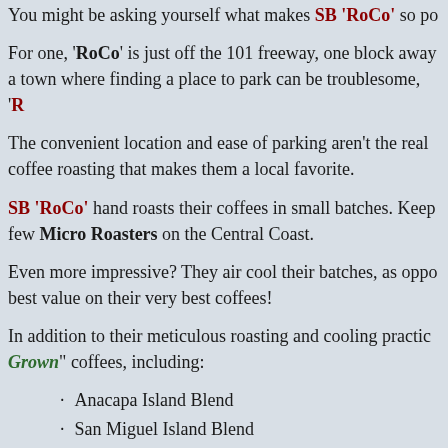You might be asking yourself what makes SB 'RoCo' so po
For one, 'RoCo' is just off the 101 freeway, one block away a town where finding a place to park can be troublesome, 'R
The convenient location and ease of parking aren't the real coffee roasting that makes them a local favorite.
SB 'RoCo' hand roasts their coffees in small batches. Keep few Micro Roasters on the Central Coast.
Even more impressive? They air cool their batches, as oppo best value on their very best coffees!
In addition to their meticulous roasting and cooling practic Grown" coffees, including:
Anacapa Island Blend
San Miguel Island Blend
Santa Cruz Island Blend
Santa Rosa Island Blend